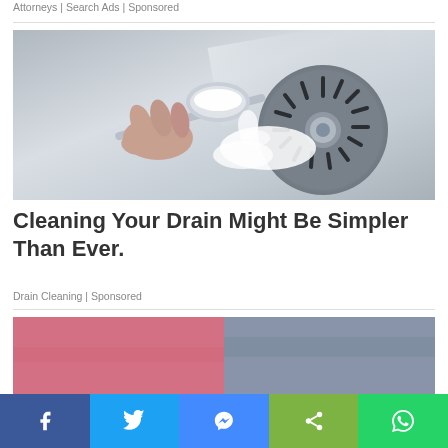Attorneys | Search Ads | Sponsored
[Figure (photo): A hand pouring white powder from a spoon into a stainless steel sink drain]
Cleaning Your Drain Might Be Simpler Than Ever.
Drain Cleaning | Sponsored
[Figure (photo): Partially visible image below the article, appears to show colorful fabric or clothing]
Facebook | Twitter | Messenger | Share | WhatsApp